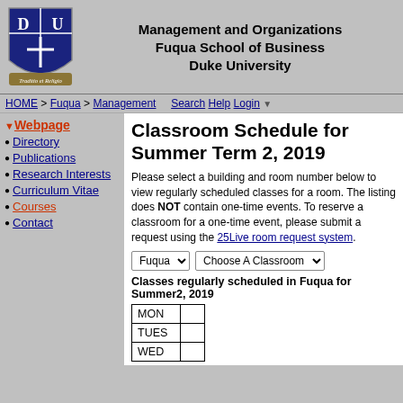Management and Organizations
Fuqua School of Business
Duke University
[Figure (logo): Duke University Fuqua School of Business shield logo with blue and white heraldic design]
HOME > Fuqua > Management   Search Help Login
Webpage
Directory
Publications
Research Interests
Curriculum Vitae
Courses
Contact
Classroom Schedule for Summer Term 2, 2019
Please select a building and room number below to view regularly scheduled classes for a room. The listing does NOT contain one-time events. To reserve a classroom for a one-time event, please submit a request using the 25Live room request system.
Classes regularly scheduled in Fuqua for Summer2, 2019
| Day |
| --- |
| MON |
| TUES |
| WED |